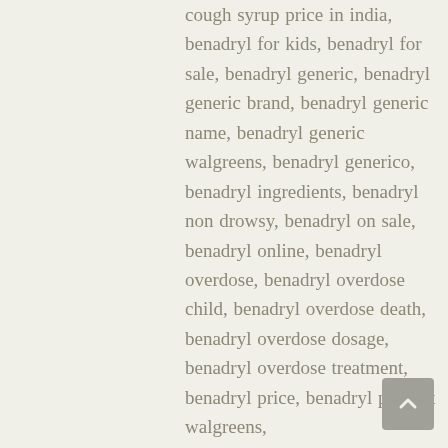cough syrup price in india, benadryl for kids, benadryl for sale, benadryl generic, benadryl generic brand, benadryl generic name, benadryl generic walgreens, benadryl generico, benadryl ingredients, benadryl non drowsy, benadryl on sale, benadryl online, benadryl overdose, benadryl overdose child, benadryl overdose death, benadryl overdose dosage, benadryl overdose treatment, benadryl price, benadryl price at walgreens,